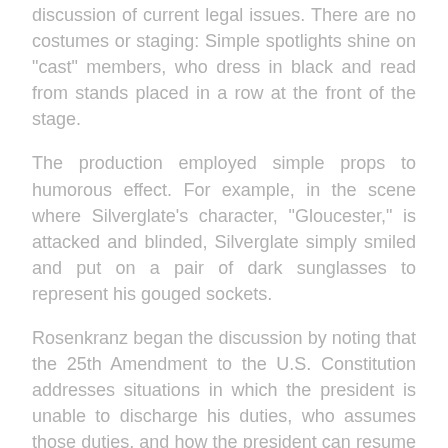discussion of current legal issues. There are no costumes or staging: Simple spotlights shine on "cast" members, who dress in black and read from stands placed in a row at the front of the stage.
The production employed simple props to humorous effect. For example, in the scene where Silverglate's character, "Gloucester," is attacked and blinded, Silverglate simply smiled and put on a pair of dark sunglasses to represent his gouged sockets.
Rosenkranz began the discussion by noting that the 25th Amendment to the U.S. Constitution addresses situations in which the president is unable to discharge his duties, who assumes those duties, and how the president can resume his position. Rosenkranz began the discussion by noting that the 25th Amendment to the U.S. Constitution addresses situations in which the president is unable to discharge his duties, who assumes